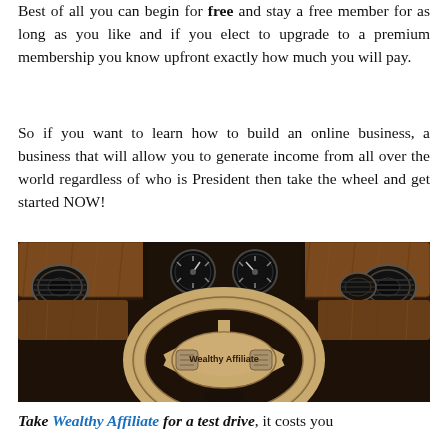Best of all you can begin for free and stay a free member for as long as you like and if you elect to upgrade to a premium membership you know upfront exactly how much you will pay.
So if you want to learn how to build an online business, a business that will allow you to generate income from all over the world regardless of who is President then take the wheel and get started NOW!
[Figure (photo): Interior of a luxury car showing a cream/beige leather steering wheel with 'Wealthy Affiliate' text on the hub, dashboard with gauges and wood trim panels, multiple air vents visible.]
Take Wealthy Affiliate for a test drive, it costs you